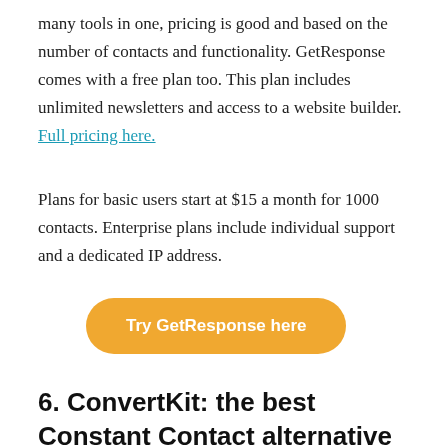many tools in one, pricing is good and based on the number of contacts and functionality. GetResponse comes with a free plan too. This plan includes unlimited newsletters and access to a website builder. Full pricing here.
Plans for basic users start at $15 a month for 1000 contacts. Enterprise plans include individual support and a dedicated IP address.
[Figure (other): Button labeled 'Try GetResponse here' with orange/yellow rounded rectangle background]
6. ConvertKit: the best Constant Contact alternative for creators